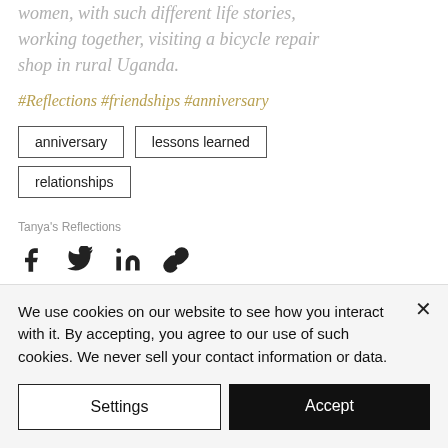women, with such different life stories, working together, visiting a bicycle repair shop in rural Uganda.
#Reflections #friendships #anniversary
anniversary
lessons learned
relationships
Tanya's Reflections
[Figure (infographic): Social share icons: Facebook, Twitter, LinkedIn, and link/copy icon]
We use cookies on our website to see how you interact with it. By accepting, you agree to our use of such cookies. We never sell your contact information or data.
Settings
Accept